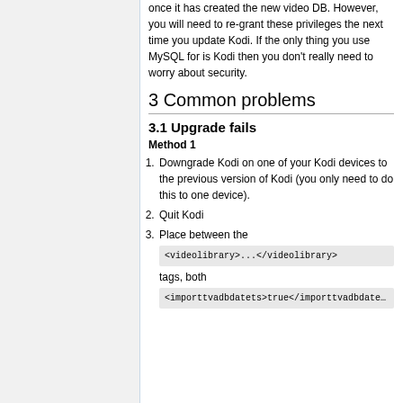once it has created the new video DB. However, you will need to re-grant these privileges the next time you update Kodi. If the only thing you use MySQL for is Kodi then you don't really need to worry about security.
3 Common problems
3.1 Upgrade fails
Method 1
Downgrade Kodi on one of your Kodi devices to the previous version of Kodi (you only need to do this to one device).
Quit Kodi
Place between the <videolibrary>...</videolibrary> tags, both <importtvadbdatets>true</importtvadbdatets>